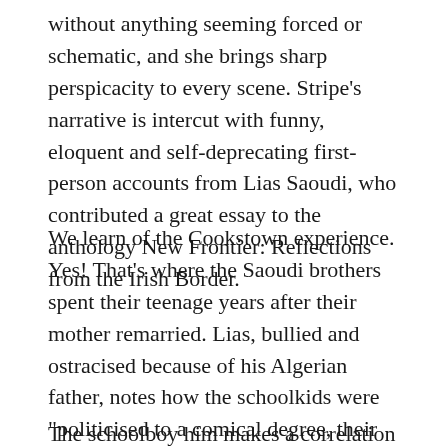without anything seeming forced or schematic, and she brings sharp perspicacity to every scene. Stripe's narrative is intercut with funny, eloquent and self-deprecating first-person accounts from Lias Saoudi, who contributed a great essay to the anthology New Frontier: Reflections from the Irish Border.
We learn of the Cookstown experience. Yes! That's where the Saoudi brothers spent their teenage years after their mother remarried. Lias, bullied and ostracised because of his Algerian father, notes how the schoolkids were "politicised to a comical degree, their schoolbooks adorned with anatomically proficient renderings of British Bulldogs".
The schoolboy him makes a correlation